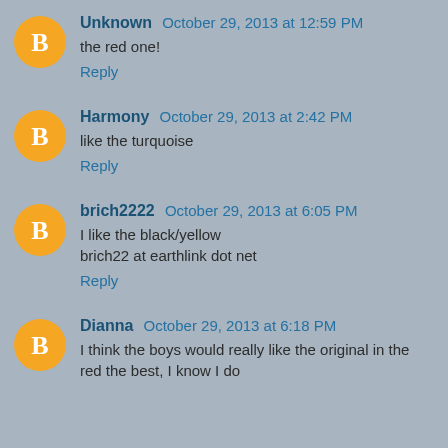Unknown  October 29, 2013 at 12:59 PM
the red one!
Reply
Harmony  October 29, 2013 at 2:42 PM
like the turquoise
Reply
brich2222  October 29, 2013 at 6:05 PM
I like the black/yellow
brich22 at earthlink dot net
Reply
Dianna  October 29, 2013 at 6:18 PM
I think the boys would really like the original in the red the best, I know I do